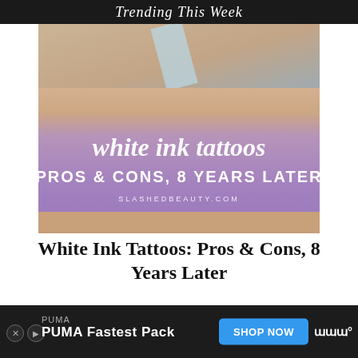Trending This Week
[Figure (photo): White ink tattoo on forearm with purple overlay banner reading 'white ink tattoos PROS & CONS, 8 YEARS LATER' and website slashedbeauty.com]
White Ink Tattoos: Pros & Cons, 8 Years Later
[Figure (photo): T/Gel shampoo bottles (large and small) next to a blue candle holder on a light background]
PUMA
PUMA Fastest Pack
SHOP NOW